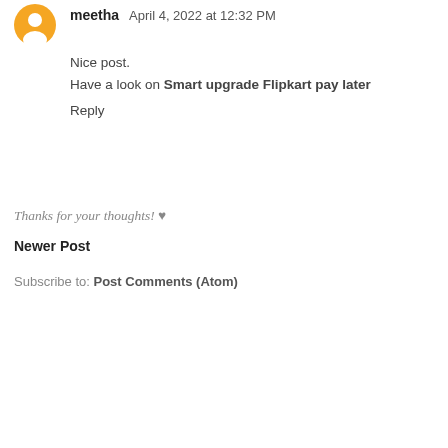[Figure (illustration): Orange circular Blogger avatar icon with white silhouette of person]
meetha  April 4, 2022 at 12:32 PM
Nice post.
Have a look on Smart upgrade Flipkart pay later
Reply
Thanks for your thoughts! ♥
Newer Post
Subscribe to: Post Comments (Atom)